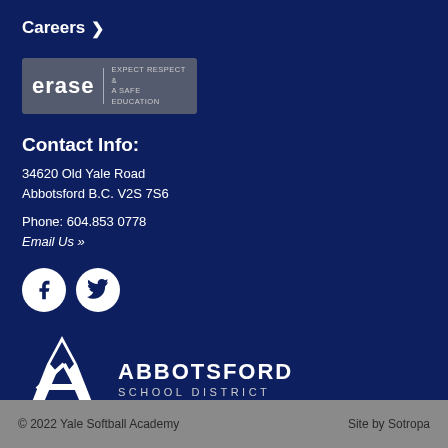Careers ›
[Figure (logo): ERASE badge — Expect Respect & A Safe Education]
Contact Info:
34620 Old Yale Road
Abbotsford B.C. V2S 7S6
Phone: 604.853 0778
Email Us »
[Figure (illustration): Facebook and Twitter social media icon buttons (white circles on dark navy background)]
[Figure (logo): Abbotsford School District logo with stylized A mark and text]
© 2022 Yale Softball Academy    Site by Sotropa